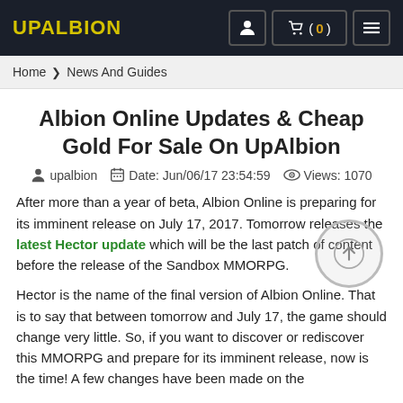UPALBION | (0)
Home > News And Guides
Albion Online Updates & Cheap Gold For Sale On UpAlbion
upalbion   Date: Jun/06/17 23:54:59   Views: 1070
After more than a year of beta, Albion Online is preparing for its imminent release on July 17, 2017. Tomorrow releases the latest Hector update which will be the last patch of content before the release of the Sandbox MMORPG.
Hector is the name of the final version of Albion Online. That is to say that between tomorrow and July 17, the game should change very little. So, if you want to discover or rediscover this MMORPG and prepare for its imminent release, now is the time! A few changes have been made on the